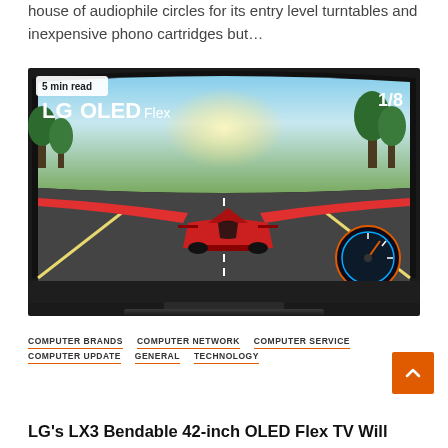house of audiophile circles for its entry level turntables and inexpensive phono cartridges but…
[Figure (photo): LG OLED Flex curved gaming TV displaying a racing game, shown on a stand. Badge reads '5 min read'. LG OLED Flex logo visible in top-left of screen.]
COMPUTER BRANDS
COMPUTER NETWORK
COMPUTER SERVICE
COMPUTER UPDATE
GENERAL
TECHNOLOGY
LG's LX3 Bendable 42-inch OLED Flex TV Will